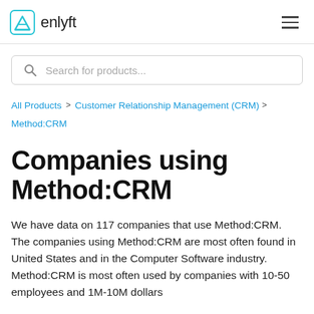enlyft
All Products > Customer Relationship Management (CRM) > Method:CRM
Companies using Method:CRM
We have data on 117 companies that use Method:CRM. The companies using Method:CRM are most often found in United States and in the Computer Software industry. Method:CRM is most often used by companies with 10-50 employees and 1M-10M dollars